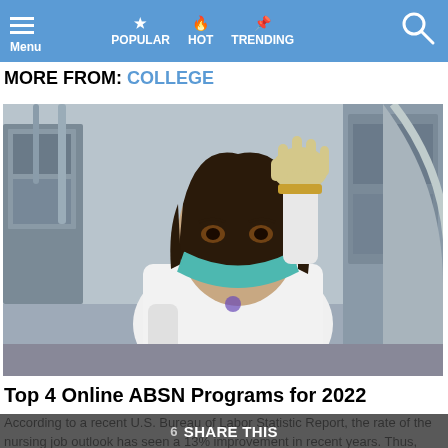Menu  POPULAR  HOT  TRENDING
MORE FROM: COLLEGE
[Figure (photo): A woman in a white lab coat and teal surgical mask, wearing latex gloves, raising one hand in a medical laboratory setting with equipment in the background.]
Top 4 Online ABSN Programs for 2022
According to a recent U.S. Bureau of Labor Statistic Report, the rate of the nursing job outlook has seen a 13% improvement in recent years. Thus, undertaking a course in Accelerated Bachelor of Science in Nursing (BSN)...
6 SHARE THIS